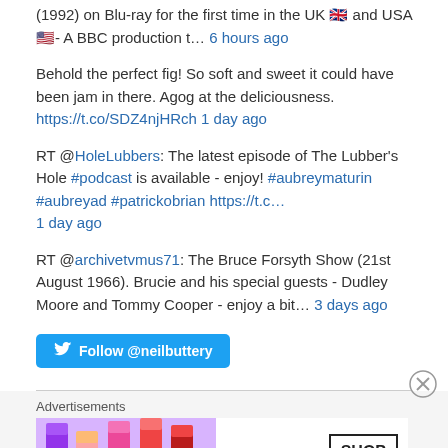(1992) on Blu-ray for the first time in the UK 🇬🇧 and USA 🇺🇸- A BBC production t… 6 hours ago
Behold the perfect fig! So soft and sweet it could have been jam in there. Agog at the deliciousness. https://t.co/SDZ4njHRch 1 day ago
RT @HoleLubbers: The latest episode of The Lubber's Hole #podcast is available - enjoy! #aubreymaturin #aubreyad #patrickobrian https://t.c… 1 day ago
RT @archivetvmus71: The Bruce Forsyth Show (21st August 1966). Brucie and his special guests - Dudley Moore and Tommy Cooper - enjoy a bit… 3 days ago
Follow @neilbuttery
[Figure (infographic): Advertisement section with MAC cosmetics lipstick ad showing lipsticks with SHOP NOW box and MAC logo]